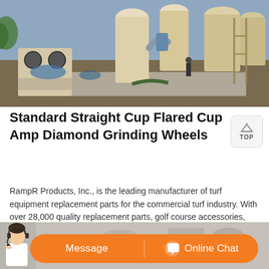[Figure (photo): Industrial grinding equipment installation site with large white silos, milling machinery, and workers on a dirt construction area under a cloudy sky.]
Standard Straight Cup Flared Cup Amp Diamond Grinding Wheels
RampR Products, Inc., is the leading manufacturer of turf equipment replacement parts for the commercial turf industry. With over 28,000 quality replacement parts, golf course accessories, irrigation, safety, tools and much more, we take pride in superior customer service with 98 of all orders shipped the same day the order is received.
[Figure (photo): Bottom banner showing a customer service representative with headset, an orange Message button, and an Online Chat button with chat icon.]